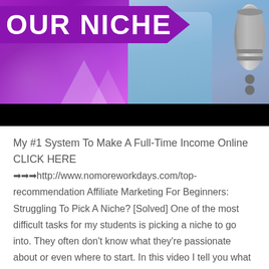[Figure (photo): Thumbnail image showing purple banner with bold white text 'OUR NICHE', a person in light blue shirt, and a silver microphone on the right. Black bar at the bottom of the image area.]
My #1 System To Make A Full-Time Income Online CLICK HERE ➡➡➡http://www.nomoreworkdays.com/top-recommendation Affiliate Marketing For Beginners: Struggling To Pick A Niche? [Solved] One of the most difficult tasks for my students is picking a niche to go into. They often don't know what they're passionate about or even where to start. In this video I tell you what I would do if I had no idea what to go into. Here's a hint: